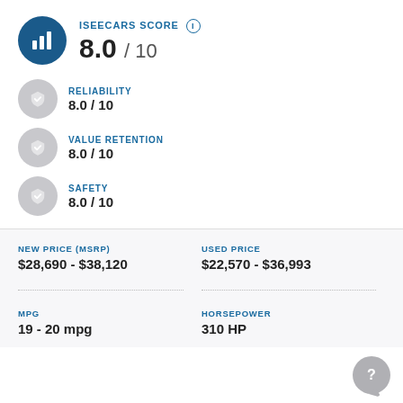iSEECARS SCORE 8.0 / 10
RELIABILITY 8.0 / 10
VALUE RETENTION 8.0 / 10
SAFETY 8.0 / 10
| NEW PRICE (MSRP) | USED PRICE |
| --- | --- |
| $28,690 - $38,120 | $22,570 - $36,993 |
| MPG | HORSEPOWER |
| --- | --- |
| 19 - 20 mpg | 310 HP |